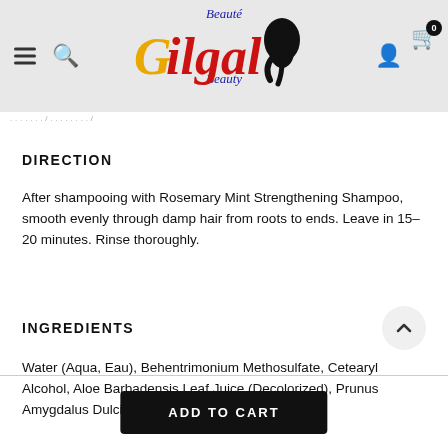[Figure (logo): Beauté Gilgal Beauty logo with stylized text in blue, red, and gold with a hair silhouette]
DIRECTION
After shampooing with Rosemary Mint Strengthening Shampoo, smooth evenly through damp hair from roots to ends. Leave in 15–20 minutes. Rinse thoroughly.
INGREDIENTS
Water (Aqua, Eau), Behentrimonium Methosulfate, Cetearyl Alcohol, Aloe Barbadensis Leaf Juice (Decolorized), Prunus Amygdalus Dulcis (Sweet